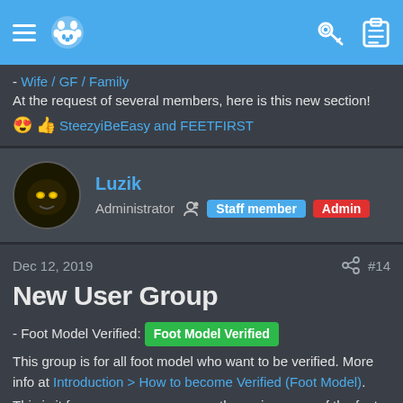Navigation bar with hamburger menu, logo, key icon, clipboard icon
- Wife / GF / Family
At the request of several members, here is this new section!
😍👍 SteezyiBeEasy and FEETFIRST
Luzik
Administrator  Staff member  Admin
Dec 12, 2019  #14
New User Group
- Foot Model Verified: Foot Model Verified
This group is for all foot model who want to be verified. More info at Introduction > How to become Verified (Foot Model).
This is it for reassure everyone on the seriousness of the foot model and avoid scams.